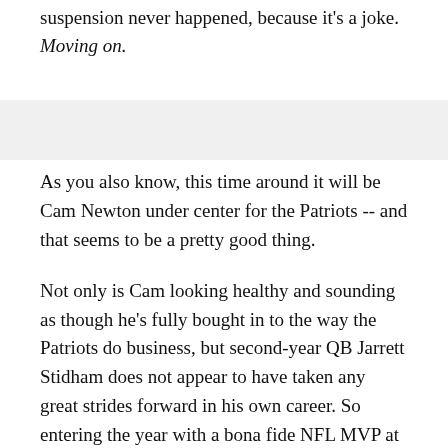suspension never happened, because it's a joke. Moving on.
As you also know, this time around it will be Cam Newton under center for the Patriots -- and that seems to be a pretty good thing.
Not only is Cam looking healthy and sounding as though he's fully bought in to the way the Patriots do business, but second-year QB Jarrett Stidham does not appear to have taken any great strides forward in his own career. So entering the year with a bona fide NFL MVP at quarterback certainly gives the Patriots a whole lot more promise -- and frankly, a whole lot more juice -- than the alternative of starting either